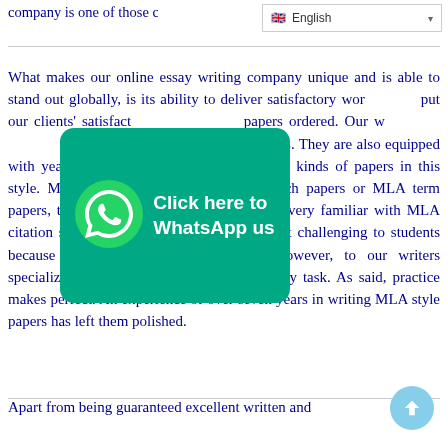company is one of those compani…
What makes our online essay writing company unique and is able to stand out globally, is its ability to deliver satisfactory work… put our clients' satisfact… papers ordered. Our w… iters in writing MLA style papers. They are also equipped with years of experience in writing different kinds of papers in this style. May it be MLA essays, MLA research papers or MLA term papers, they have done it all. They are also very familiar with MLA citation style. This style is known to be a bit challenging to students because of the complexities involved. However, to our writers specializing in MLA writing, it is a very easy task. As said, practice makes perfect. An experience of over seven years in writing MLA style papers has left them polished.
[Figure (other): WhatsApp call-to-action button overlay with phone icon and text 'Click here to WhatsApp us' on teal/green background]
Apart from being guaranteed excellent written and